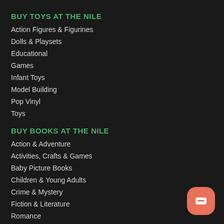BUY TOYS AT THE NILE
Action Figures & Figurines
Dolls & Playsets
Educational
Games
Infant Toys
Model Building
Pop Vinyl
Toys
BUY BOOKS AT THE NILE
Action & Adventure
Activities, Crafts & Games
Baby Picture Books
Children & Young Adults
Crime & Mystery
Fiction & Literature
Romance
Science Fiction & Fantasy